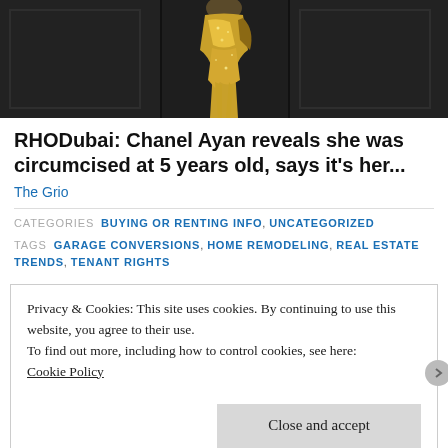[Figure (photo): Person wearing a gold sequined dress, photographed from torso down against a dark background with black paneling.]
RHODubai: Chanel Ayan reveals she was circumcised at 5 years old, says it’s her...
The Grio
CATEGORIES  BUYING OR RENTING INFO, UNCATEGORIZED
TAGS  GARAGE CONVERSIONS, HOME REMODELING, REAL ESTATE TRENDS, TENANT RIGHTS
Privacy & Cookies: This site uses cookies. By continuing to use this website, you agree to their use.
To find out more, including how to control cookies, see here:
Cookie Policy
Close and accept